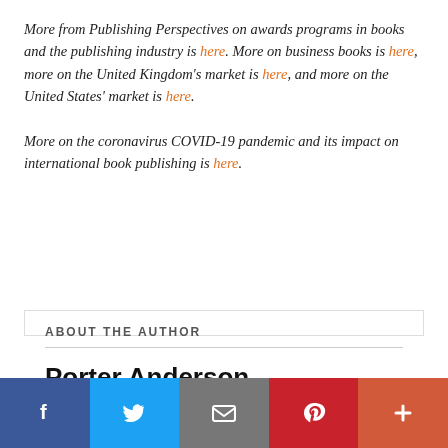More from Publishing Perspectives on awards programs in books and the publishing industry is here. More on business books is here, more on the United Kingdom's market is here, and more on the United States' market is here.
More on the coronavirus COVID-19 pandemic and its impact on international book publishing is here.
ABOUT THE AUTHOR
Porter Anderson
Facebook  Twitter  Google+